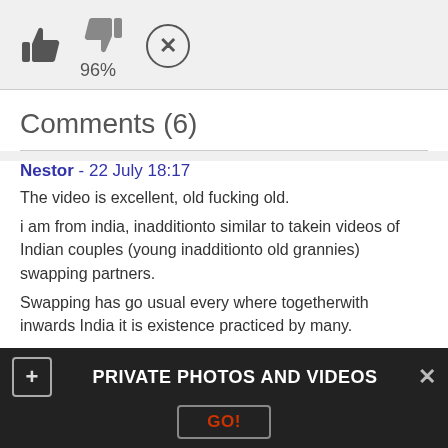[Figure (other): Rating icons: thumbs up, thumbs down, X button with 96% rating shown]
Comments (6)
Nestor - 22 July 18:17
The video is excellent, old fucking old.
i am from india, inadditionto similar to takein videos of Indian couples (young inadditionto old grannies) swapping partners.
Swapping has go usual every where togetherwith inwards India it is existence practiced by many.
Also how to download the videos posted on your tube inadditionto view later on when I am liberate too exhibit to others?
Vicky - 10 July 15:49
Encounter me at sawgrass mall tomorrow morn
PRIVATE PHOTOS AND VIDEOS
GO!